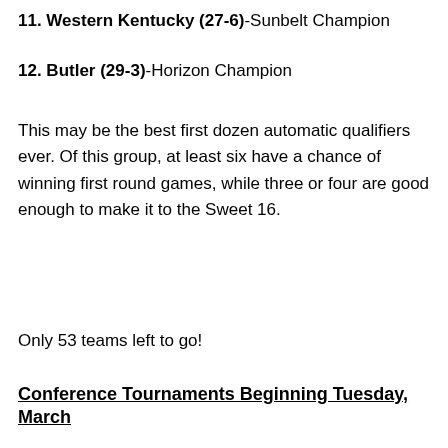11. Western Kentucky (27-6)-Sunbelt Champion
12. Butler (29-3)-Horizon Champion
This may be the best first dozen automatic qualifiers ever. Of this group, at least six have a chance of winning first round games, while three or four are good enough to make it to the Sweet 16.
Only 53 teams left to go!
Conference Tournaments Beginning Tuesday, March
Privacy & Cookies: This site uses cookies. By continuing to use this website, you agree to their use.
To find out more, including how to control cookies, see here: Cookie Policy